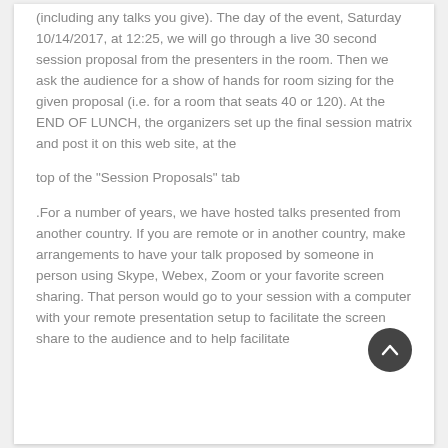(including any talks you give). The day of the event, Saturday 10/14/2017, at 12:25, we will go through a live 30 second session proposal from the presenters in the room. Then we ask the audience for a show of hands for room sizing for the given proposal (i.e. for a room that seats 40 or 120). At the END OF LUNCH, the organizers set up the final session matrix and post it on this web site, at the
top of the "Session Proposals" tab
.For a number of years, we have hosted talks presented from another country. If you are remote or in another country, make arrangements to have your talk proposed by someone in person using Skype, Webex, Zoom or your favorite screen sharing. That person would go to your session with a computer with your remote presentation setup to facilitate the screen share to the audience and to help facilitate